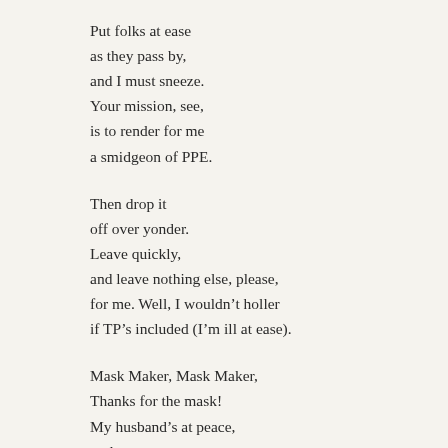Put folks at ease
as they pass by,
and I must sneeze.
Your mission, see,
is to render for me
a smidgeon of PPE.
Then drop it
off over yonder.
Leave quickly,
and leave nothing else, please,
for me. Well, I wouldn't holler
if TP's included (I'm ill at ease).
Mask Maker, Mask Maker,
Thanks for the mask!
My husband's at peace,
no longer repeats
day after day, “Sharing isn’t condoned,”
now that I have one
of my own.